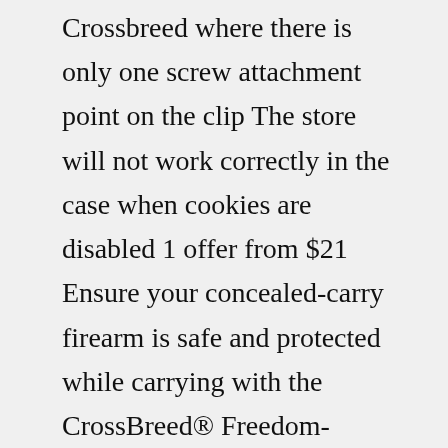Crossbreed where there is only one screw attachment point on the clip The store will not work correctly in the case when cookies are disabled 1 offer from $21 Ensure your concealed-carry firearm is safe and protected while carrying with the CrossBreed® Freedom-Carry Inside-the-Waistband Holster The flexible connection between the holster and mag carrier and the large concealment claw help the holster to comfortably hug your body com/holster